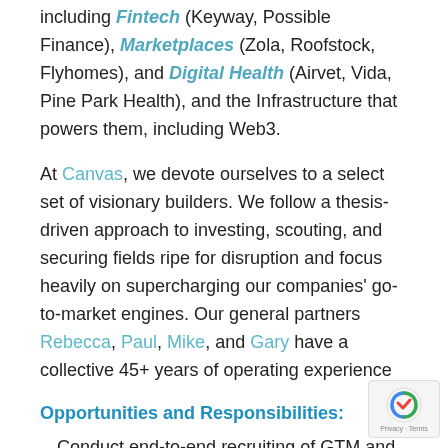including Fintech (Keyway, Possible Finance), Marketplaces (Zola, Roofstock, Flyhomes), and Digital Health (Airvet, Vida, Pine Park Health), and the Infrastructure that powers them, including Web3.
At Canvas, we devote ourselves to a select set of visionary builders. We follow a thesis-driven approach to investing, scouting, and securing fields ripe for disruption and focus heavily on supercharging our companies' go-to-market engines. Our general partners Rebecca, Paul, Mike, and Gary have a collective 45+ years of operating experience
Opportunities and Responsibilities:
Conduct end-to-end recruiting of GTM and